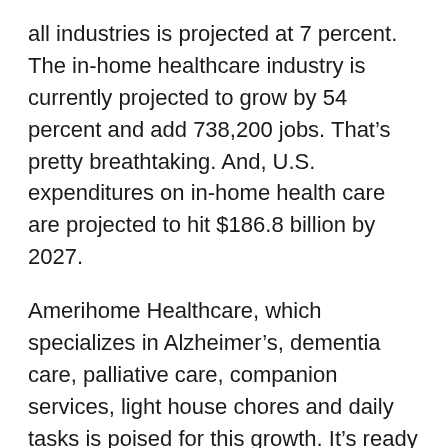all industries is projected at 7 percent. The in-home healthcare industry is currently projected to grow by 54 percent and add 738,200 jobs. That's pretty breathtaking. And, U.S. expenditures on in-home health care are projected to hit $186.8 billion by 2027.
Amerihome Healthcare, which specializes in Alzheimer's, dementia care, palliative care, companion services, light house chores and daily tasks is poised for this growth. It's ready to provide affordable, quality in-home care service for the elderly and senior population in South Florida.
“Our support staff and operation resemble that of a large corporation, but unlike a large